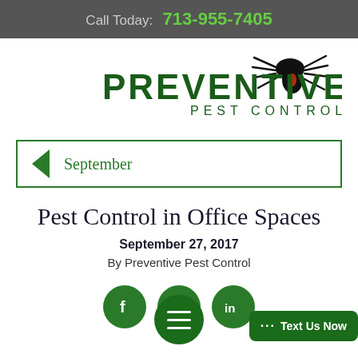Call Today: 713-955-7405
[Figure (logo): Preventive Pest Control logo with black widow spider illustration and green text]
September
Pest Control in Office Spaces
September 27, 2017
By Preventive Pest Control
[Figure (other): Social sharing buttons (Facebook, Twitter, LinkedIn) and Text Us Now widget]